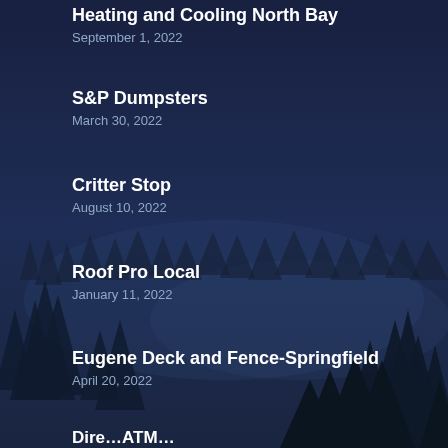Heating and Cooling North Bay
September 1, 2022
S&P Dumpsters
March 30, 2022
Critter Stop
August 10, 2022
Roof Pro Local
January 11, 2022
Eugene Deck and Fence-Springfield
April 20, 2022
…